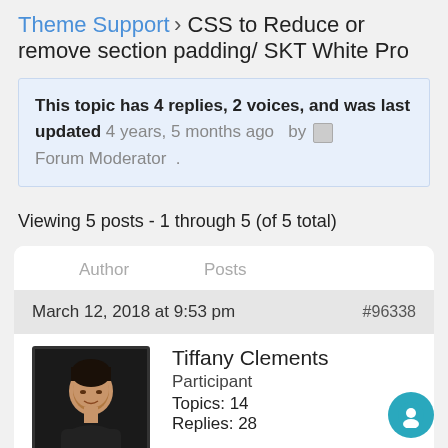Theme Support › CSS to Reduce or remove section padding/ SKT White Pro
This topic has 4 replies, 2 voices, and was last updated 4 years, 5 months ago by Forum Moderator .
Viewing 5 posts - 1 through 5 (of 5 total)
| Author | Posts |
| --- | --- |
| March 12, 2018 at 9:53 pm | #96338 |
| Tiffany Clements
Participant
Topics: 14
Replies: 28 |  |